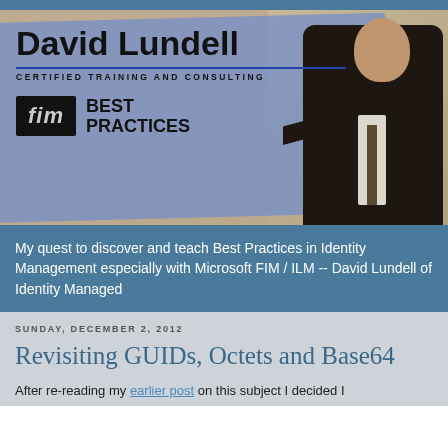[Figure (photo): Blog header banner for David Lundell Certified Training and Consulting — FIM Best Practices, featuring a man in a dark suit pointing at a blue screen, with the text 'David Lundell', 'CERTIFIED TRAINING AND CONSULTING', and 'fim BEST PRACTICES']
My quest to discover and teach Best Practices in Identity Management especially with Microsoft FIM / ILM -- David Lundell of Identity Managed
SUNDAY, DECEMBER 2, 2012
Revisiting GUIDs, Octets and Base64
After re-reading my earlier post on this subject I decided I